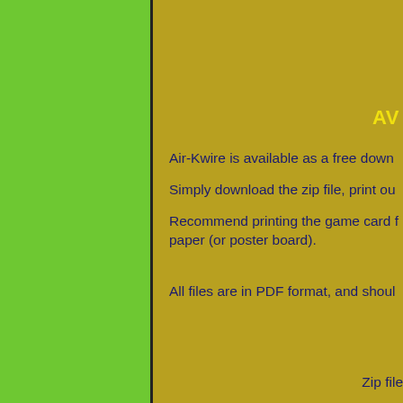AV
Air-Kwire is available as a free down
Simply download the zip file, print ou
Recommend printing the game card f paper (or poster board).
All files are in PDF format, and shoul
Zip file